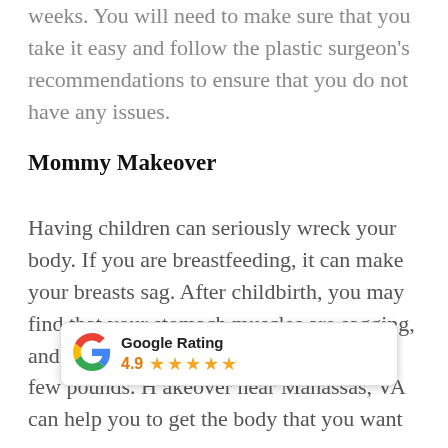weeks. You will need to make sure that you take it easy and follow the plastic surgeon's recommendations to ensure that you do not have any issues.
Mommy Makeover
Having children can seriously wreck your body. If you are breastfeeding, it can make your breasts sag. After childbirth, you may find that your stomach muscles are sagging, and you may be unable to lose those last few pounds. H[aving a mommy m]akeover near Manassas, VA can help you to get the body that you want
[Figure (infographic): Google Rating widget showing 4.9 stars with five orange stars]